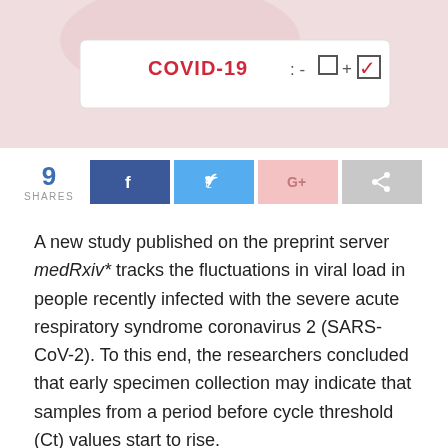[Figure (photo): COVID-19 rapid test strip with positive result (checkbox marked with red checkmark on the positive side)]
9 SHARES
[Figure (infographic): Social media share buttons: Facebook (dark blue), Twitter (light blue), Google+ (pink), Share (gray)]
A new study published on the preprint server medRxiv* tracks the fluctuations in viral load in people recently infected with the severe acute respiratory syndrome coronavirus 2 (SARS-CoV-2). To this end, the researchers concluded that early specimen collection may indicate that samples from a period before cycle threshold (Ct) values start to rise.
[Figure (photo): Partial view of a document or paper with handwritten or printed content, partially visible at bottom of page]